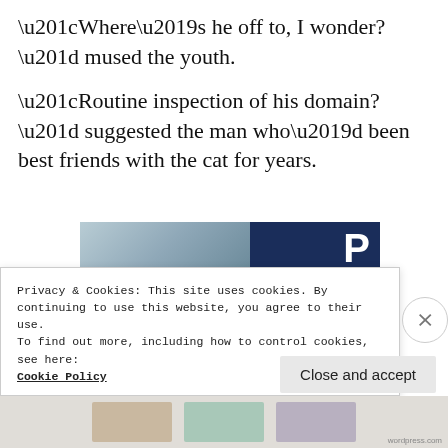“Where’s he off to, I wonder?” mused the youth.
“Routine inspection of his domain?” suggested the man who’d been best friends with the cat for years.
[Figure (illustration): Advertisement for WordPress hosting showing a smiling woman holding an OPEN sign, with a dark blue panel on the right displaying a P logo and the text WORDPRESS HOSTING THAT MEANS BUSINESS.]
Privacy & Cookies: This site uses cookies. By continuing to use this website, you agree to their use.
To find out more, including how to control cookies, see here:
Cookie Policy
Close and accept